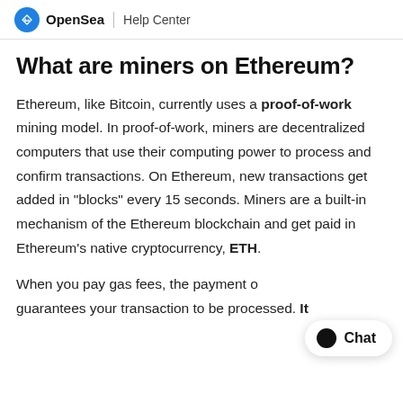OpenSea | Help Center
What are miners on Ethereum?
Ethereum, like Bitcoin, currently uses a proof-of-work mining model. In proof-of-work, miners are decentralized computers that use their computing power to process and confirm transactions. On Ethereum, new transactions get added in "blocks" every 15 seconds. Miners are a built-in mechanism of the Ethereum blockchain and get paid in Ethereum's native cryptocurrency, ETH.
When you pay gas fees, the payment o[...] guarantees your transaction to be processed. It